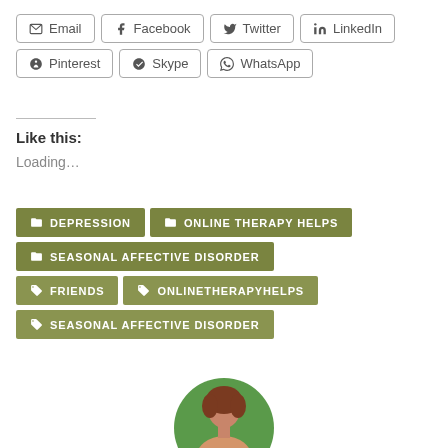Email
Facebook
Twitter
LinkedIn
Pinterest
Skype
WhatsApp
Like this:
Loading...
DEPRESSION
ONLINE THERAPY HELPS
SEASONAL AFFECTIVE DISORDER
FRIENDS
ONLINETHERAPYHELPS
SEASONAL AFFECTIVE DISORDER
[Figure (photo): Circular avatar photo of a woman with brown hair, partially visible at the bottom of the page, against a green/nature background.]